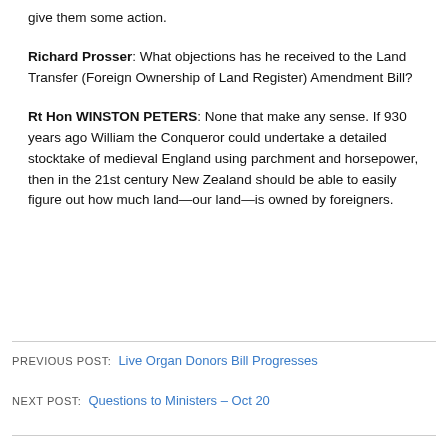give them some action.
Richard Prosser: What objections has he received to the Land Transfer (Foreign Ownership of Land Register) Amendment Bill?
Rt Hon WINSTON PETERS: None that make any sense. If 930 years ago William the Conqueror could undertake a detailed stocktake of medieval England using parchment and horsepower, then in the 21st century New Zealand should be able to easily figure out how much land—our land—is owned by foreigners.
PREVIOUS POST: Live Organ Donors Bill Progresses
NEXT POST: Questions to Ministers – Oct 20